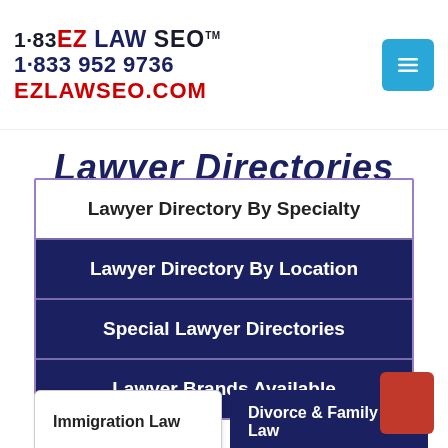1·83EZ LAW SEO™ 1·833 952 9736 EZLAWSEO.COM
Lawyer Directories
Lawyer Directory By Specialty
Lawyer Directory By Location
Special Lawyer Directories
Lawyer Brands Available
Immigration Law
Divorce & Family Law
Criminal Law
Accident & Injury Law
Real Estate Law